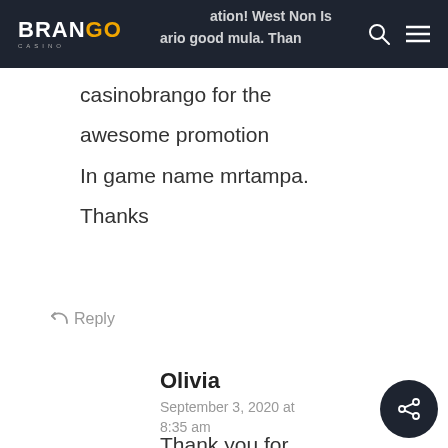Brango Casino
casinobrango for the awesome promotion In game name mrtampa. Thanks
↵ Reply
Olivia
September 3, 2020 at 8:35 am
Thank you for sharing with us